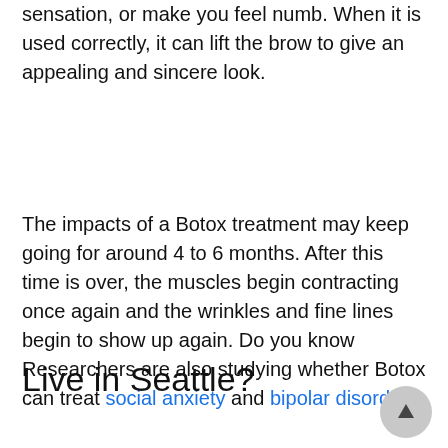sensation, or make you feel numb. When it is used correctly, it can lift the brow to give an appealing and sincere look.
The impacts of a Botox treatment may keep going for around 4 to 6 months. After this time is over, the muscles begin contracting once again and the wrinkles and fine lines begin to show up again. Do you know Researchers are also studying whether Botox can treat social anxiety and bipolar disorder.
Live in Seattle?